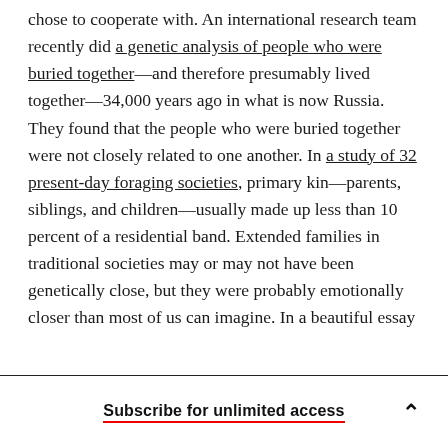chose to cooperate with. An international research team recently did a genetic analysis of people who were buried together—and therefore presumably lived together—34,000 years ago in what is now Russia. They found that the people who were buried together were not closely related to one another. In a study of 32 present-day foraging societies, primary kin—parents, siblings, and children—usually made up less than 10 percent of a residential band. Extended families in traditional societies may or may not have been genetically close, but they were probably emotionally closer than most of us can imagine. In a beautiful essay
Subscribe for unlimited access